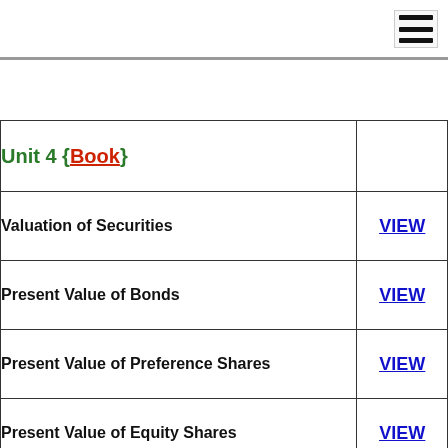| Topic | Link |
| --- | --- |
| Unit 4 {Book} |  |
| Valuation of Securities | VIEW |
| Present Value of Bonds | VIEW |
| Present Value of Preference Shares | VIEW |
| Present Value of Equity Shares | VIEW |
| Growth in Dividends: Normal growth and Super normal growth | VIEW |
| Relationship between Price, Earnings and | VIEW |